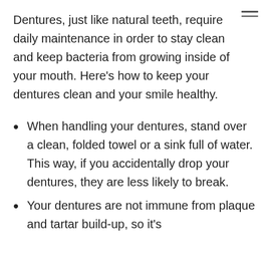Dentures, just like natural teeth, require daily maintenance in order to stay clean and keep bacteria from growing inside of your mouth. Here’s how to keep your dentures clean and your smile healthy.
When handling your dentures, stand over a clean, folded towel or a sink full of water. This way, if you accidentally drop your dentures, they are less likely to break.
Your dentures are not immune from plaque and tartar build-up, so it’s